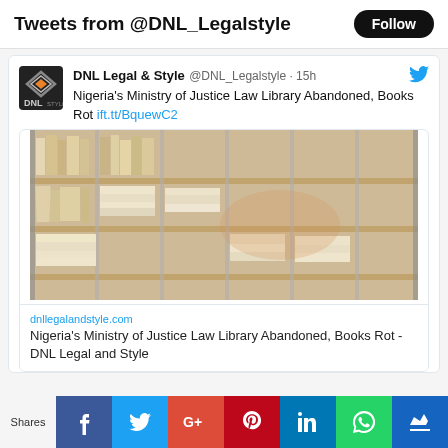Tweets from @DNL_Legalstyle
[Figure (screenshot): DNL Legal & Style Twitter feed screenshot showing tweet about Nigeria's Ministry of Justice Law Library abandoned books, with a photo of deteriorating bookshelves and a link card to dnllegalandstyle.com]
dnllegalandstyle.com
Nigeria's Ministry of Justice Law Library Abandoned, Books Rot - DNL Legal and Style
Shares